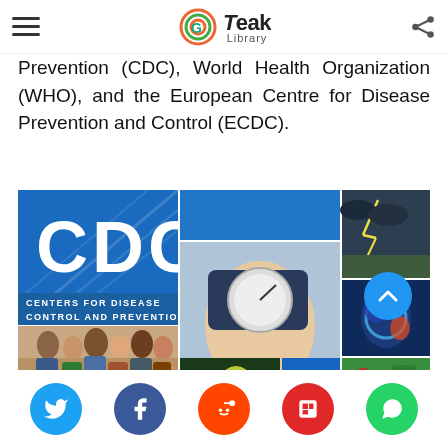Tweak Library
Prevention (CDC), World Health Organization (WHO), and the European Centre for Disease Prevention and Control (ECDC).
[Figure (photo): CDC (Centers for Disease Control and Prevention) collage image showing the CDC logo, a blood pressure monitor, a family group, microscopic cells, a lightning storm, a scientist in protective gear, and fresh vegetables.]
Social share buttons: Twitter, Facebook, Reddit, Flipboard, WhatsApp